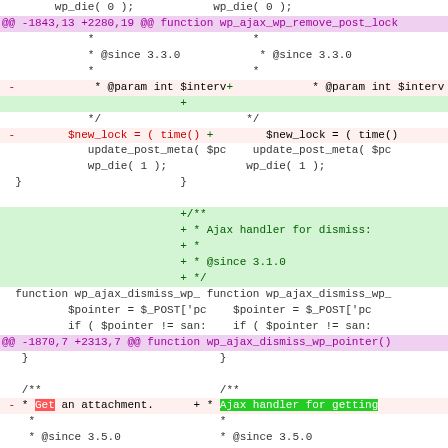[Figure (screenshot): Git diff view of PHP WordPress code showing two-column unified diff. Left column shows old code, right column shows new code. Lines include diff headers in magenta, removed lines in red/pink, added lines in green, and normal context lines in white/black. Code involves wp_ajax functions including wp_ajax_wp_remove_post_lock, wp_ajax_dismiss_wp_pointer, and wp_ajax_get_attachment.]